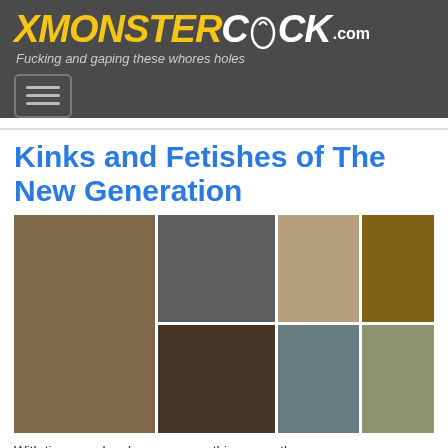XMonsterCock.com — Fucking and gaping these whores holes
Kinks and Fetishes of The New Generation
[Figure (photo): Collage of adult content images arranged in a grid]
With time, sex has become something more than